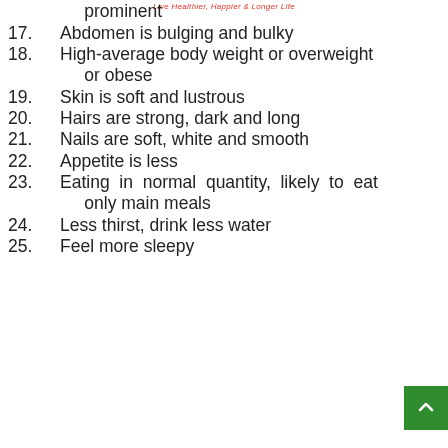Live Healthier, Happier & Longer Life
16. Veins are well covered and not prominent
17. Abdomen is bulging and bulky
18. High-average body weight or overweight or obese
19. Skin is soft and lustrous
20. Hairs are strong, dark and long
21. Nails are soft, white and smooth
22. Appetite is less
23. Eating in normal quantity, likely to eat only main meals
24. Less thirst, drink less water
25. Feel more sleepy